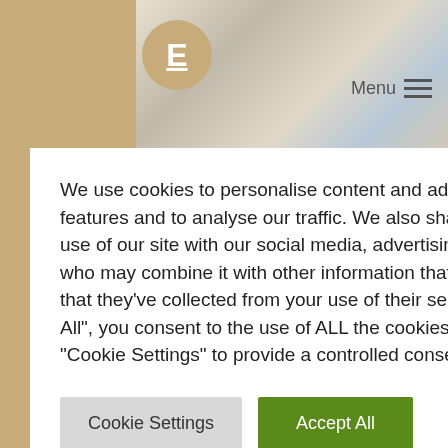[Figure (photo): Office interior photo showing a person walking, large windows, a conference table with pink chairs, and a white statue, partially visible behind cookie consent modal]
[Figure (logo): Circular tan/gold logo with underlined letter E in white]
Menu
We use cookies to personalise content and ads, to provide social media features and to analyse our traffic. We also share information about your use of our site with our social media, advertising and analytics partners who may combine it with other information that you've provided to them or that they've collected from your use of their services. By clicking "Accept All", you consent to the use of ALL the cookies. However, you may visit "Cookie Settings" to provide a controlled consent.
Cookie Settings
Accept All